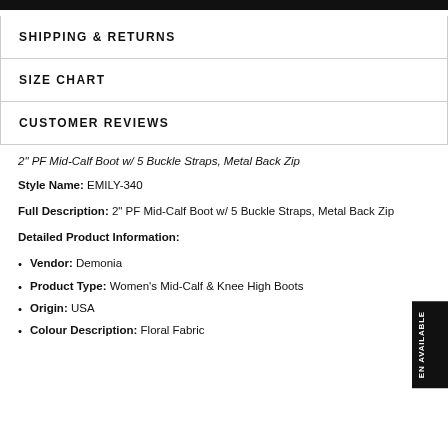SHIPPING & RETURNS
SIZE CHART
CUSTOMER REVIEWS
2" PF Mid-Calf Boot w/ 5 Buckle Straps, Metal Back Zip
Style Name: EMILY-340
Full Description: 2" PF Mid-Calf Boot w/ 5 Buckle Straps, Metal Back Zip
Detailed Product Information:
Vendor: Demonia
Product Type: Women's Mid-Calf & Knee High Boots
Origin: USA
Colour Description: Floral Fabric